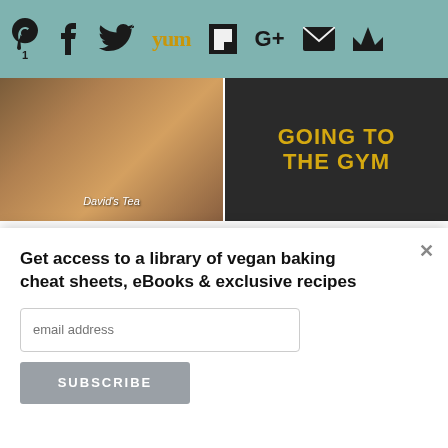[Figure (screenshot): Social share bar with icons: Pinterest (with badge 1), Facebook, Twitter, Yummly, Flipboard, Google+, Email, Crown/King]
[Figure (photo): Tea leaves photo with text 'David's Tea' overlay]
The Skinny Tea Review
[Figure (photo): Dark background image with gold text 'GOING TO THE GYM']
4 thoughts that may be keeping you from the gym
[Figure (screenshot): SUMO badge/watermark with crown icon and 'SUMO' text]
[Figure (photo): Partial food images in bottom row]
Get access to a library of vegan baking cheat sheets, eBooks & exclusive recipes
email address
SUBSCRIBE